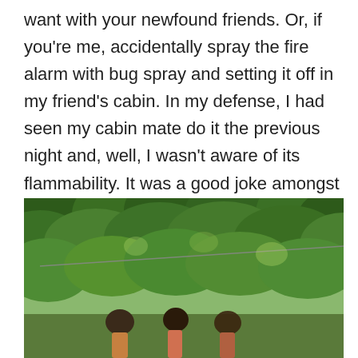want with your newfound friends. Or, if you're me, accidentally spray the fire alarm with bug spray and setting it off in my friend's cabin. In my defense, I had seen my cabin mate do it the previous night and, well, I wasn't aware of its flammability. It was a good joke amongst my group.
[Figure (photo): Outdoor photo showing people below a canopy of dense green trees with a wire or rope line visible running diagonally across the image.]